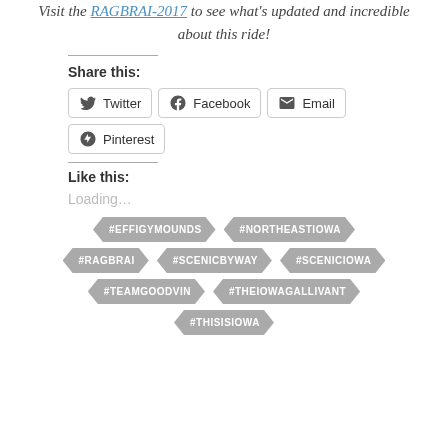Visit the RAGBRAI-2017 to see what's updated and incredible about this ride!
Share this:
Twitter
Facebook
Email
Pinterest
Like this:
Loading…
#EFFIGYMOUNDS #NORTHEASTIOWA #RAGBRAI #SCENICBYWAY #SCENICIOWA #TEAMGOODVIN #THEIOWAGALLIVANT #THISISIOWA